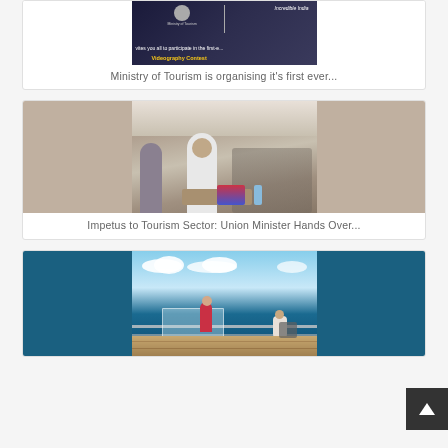[Figure (photo): Screenshot of Ministry of Tourism Incredible India Videography Contest invitation banner]
Ministry of Tourism is organising it's first ever...
[Figure (photo): Photo of Union Minister handing over something to a person at an event, several people in masks in background]
Impetus to Tourism Sector: Union Minister Hands Over...
[Figure (photo): Photo of a woman and man on a cruise ship deck overlooking the ocean]